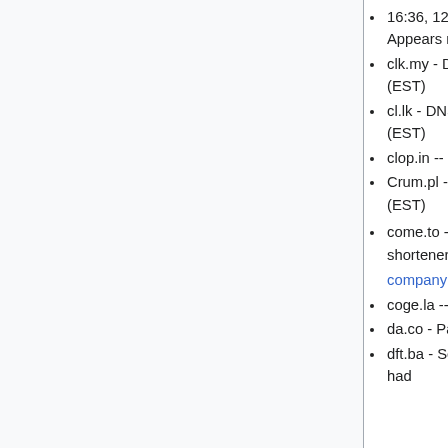16:36, 12 December 2015 (EST); Appears non-incremental
clk.my - DNS not responding as of 01:26, 7 December 2015 (EST)
cl.lk - DNS not responding as of 16:15, 12 December 2015 (EST)
clop.in -- domain parked as of 21:52, 21 November 2015 (EST)
Crum.pl - DNS not responding as of 01:26, 7 December 2015 (EST)
come.to - (wayback of homepage) Related to various .to shorteners. Started in 1997, killed in 2013 after parent company died.
coge.la -- just a logo as of 22:00, 21 November 2015 (EST)
da.co - Parked.
dft.ba - Server gone as of 01:11, 17 November 2015 (EST) ; site had